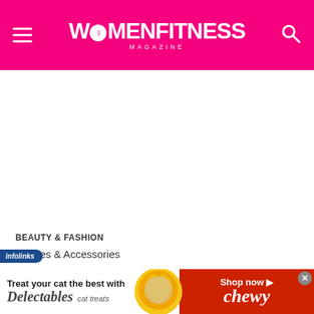WOMENFITNESS MAGAZINE
BEAUTY & FASHION
Clothes & Accessories
[Figure (screenshot): Advertisement banner: Treat your cat the best with Delectables cat treats - Shop now at Chewy, with image of a cat]